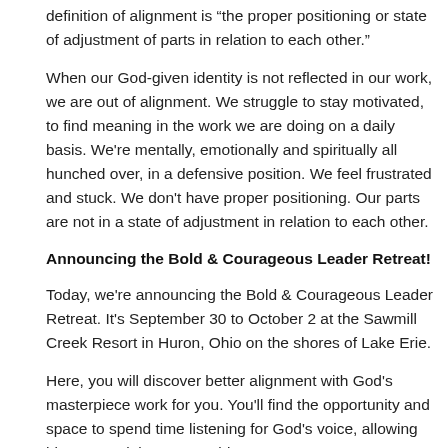definition of alignment is “the proper positioning or state of adjustment of parts in relation to each other.”
When our God-given identity is not reflected in our work, we are out of alignment. We struggle to stay motivated, to find meaning in the work we are doing on a daily basis. We're mentally, emotionally and spiritually all hunched over, in a defensive position. We feel frustrated and stuck. We don't have proper positioning. Our parts are not in a state of adjustment in relation to each other.
Announcing the Bold & Courageous Leader Retreat!
Today, we're announcing the Bold & Courageous Leader Retreat. It's September 30 to October 2 at the Sawmill Creek Resort in Huron, Ohio on the shores of Lake Erie.
Here, you will discover better alignment with God's masterpiece work for you. You'll find the opportunity and space to spend time listening for God's voice, allowing him to speak into your spirit,